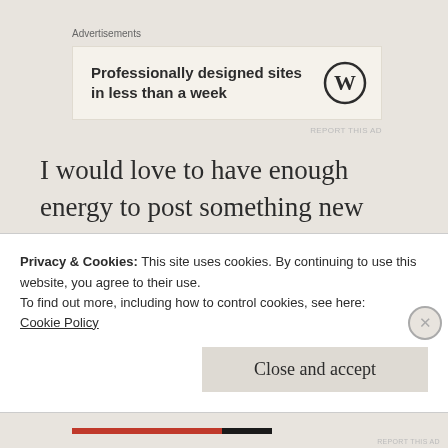Advertisements
[Figure (screenshot): Advertisement banner: 'Professionally designed sites in less than a week' with WordPress logo]
REPORT THIS AD
I would love to have enough energy to post something new every day, but I don't.  Lately, after hours of reading, I seem to need  more and more time resting away from my
Privacy & Cookies: This site uses cookies. By continuing to use this website, you agree to their use.
To find out more, including how to control cookies, see here:
Cookie Policy
Close and accept